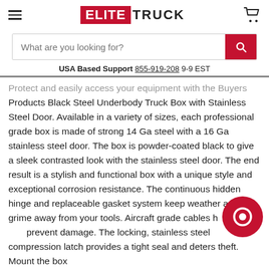[Figure (logo): Elite Truck logo with red background for ELITE text and black TRUCK text]
What are you looking for?
USA Based Support 855-919-208 9-9 EST
Protect and easily access your equipment with the Buyers Products Black Steel Underbody Truck Box with Stainless Steel Door. Available in a variety of sizes, each professional grade box is made of strong 14 Ga steel with a 16 Ga stainless steel door. The box is powder-coated black to give a sleek contrasted look with the stainless steel door. The end result is a stylish and functional box with a unique style and exceptional corrosion resistance. The continuous hidden hinge and replaceable gasket system keep weather and grime away from your tools. Aircraft grade cables h... prevent damage. The locking, stainless steel compression latch provides a tight seal and deters theft. Mount the box